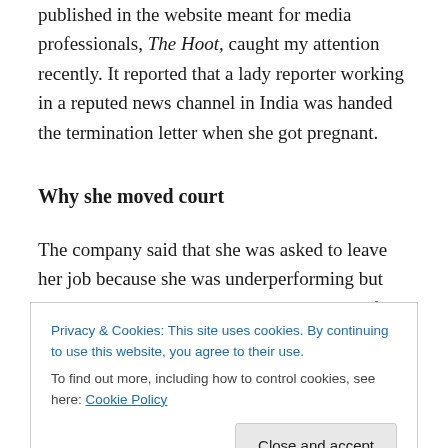published in the website meant for media professionals, The Hoot, caught my attention recently. It reported that a lady reporter working in a reputed news channel in India was handed the termination letter when she got pregnant.
Why she moved court
The company said that she was asked to leave her job because she was underperforming but she moved court saying that the real reason for termination was her pregnancy. She questioned the company that for the two
Privacy & Cookies: This site uses cookies. By continuing to use this website, you agree to their use. To find out more, including how to control cookies, see here: Cookie Policy
has upheld the fact that an unfair labour practice has